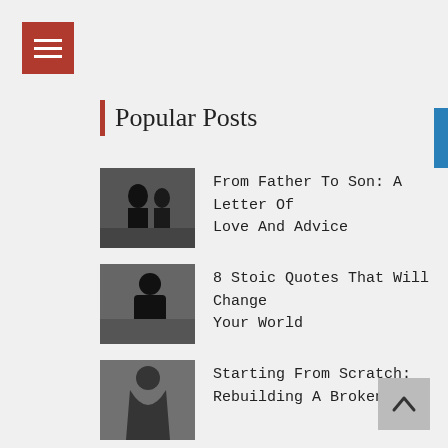Popular Posts
From Father To Son: A Letter Of Love And Advice
8 Stoic Quotes That Will Change Your World
Starting From Scratch: Rebuilding A Broken Life
F#@k Motivation! What You Really Need Is Discipline
The Stoic Art of Premeditated Pessimism